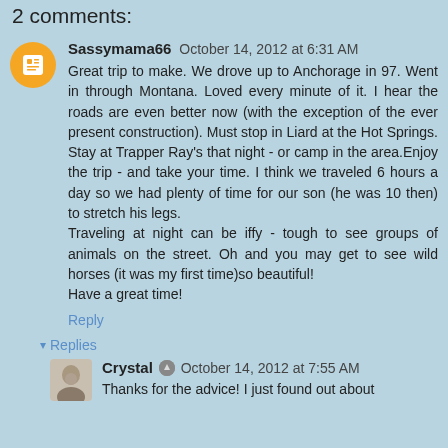2 comments:
Sassymama66 October 14, 2012 at 6:31 AM
Great trip to make. We drove up to Anchorage in 97. Went in through Montana. Loved every minute of it. I hear the roads are even better now (with the exception of the ever present construction). Must stop in Liard at the Hot Springs. Stay at Trapper Ray's that night - or camp in the area.Enjoy the trip - and take your time. I think we traveled 6 hours a day so we had plenty of time for our son (he was 10 then) to stretch his legs.
Traveling at night can be iffy - tough to see groups of animals on the street. Oh and you may get to see wild horses (it was my first time)so beautiful!
Have a great time!
Reply
Replies
Crystal October 14, 2012 at 7:55 AM
Thanks for the advice! I just found out about